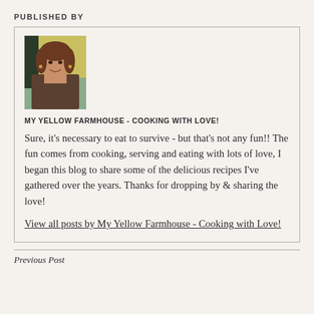PUBLISHED BY
[Figure (photo): Portrait photo of a smiling woman with brown hair, wearing earrings, against a light background]
MY YELLOW FARMHOUSE - COOKING WITH LOVE!
Sure, it's necessary to eat to survive - but that's not any fun!! The fun comes from cooking, serving and eating with lots of love, I began this blog to share some of the delicious recipes I've gathered over the years. Thanks for dropping by & sharing the love!
View all posts by My Yellow Farmhouse - Cooking with Love!
Previous Post